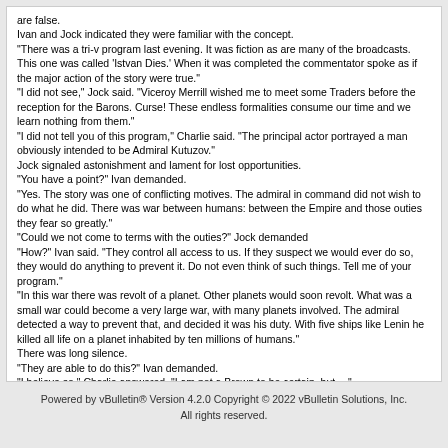are false.
Ivan and Jock indicated they were familiar with the concept.
"There was a tri-v program last evening. It was fiction as are many of the broadcasts. This one was called 'Istvan Dies.' When it was completed the commentator spoke as if the major action of the story were true."
"I did not see," Jock said. "Viceroy Merrill wished me to meet some Traders before the reception for the Barons. Curse! These endless formalities consume our time and we learn nothing from them."
"I did not tell you of this program," Charlie said. "The principal actor portrayed a man obviously intended to be Admiral Kutuzov."
Jock signaled astonishment and lament for lost opportunities.
"You have a point?" Ivan demanded.
"Yes. The story was one of conflicting motives. The admiral in command did not wish to do what he did. There was war between humans: between the Empire and those outies they fear so greatly."
"Could we not come to terms with the outies?" Jock demanded
"How?" Ivan said. "They control all access to us. If they suspect we would ever do so, they would do anything to prevent it. Do not even think of such things. Tell me of your program."
"In this war there was revolt of a planet. Other planets would soon revolt. What was a small war could become a very large war, with many planets involved. The admiral detected a way to prevent that, and decided it was his duty. With five ships like Lenin he killed all life on a planet inhabited by ten millions of humans."
There was long silence.
"They are able to do this?" Ivan demanded.
"I believe so," Charlie answered. "I am not a Brown to be certain, but -- "
"You will reflect on this. Remember that they fear us. Recall that they now know we have a prolific subspecies. Recall also that from study of the probe they placed this man in charge of the expedition to our system. Fear for your Masters and your sisters." Ivan went to his chamber. After a long time the Mediators began to speak rapidly, but very softly.
Powered by vBulletin® Version 4.2.0 Copyright © 2022 vBulletin Solutions, Inc. All rights reserved.